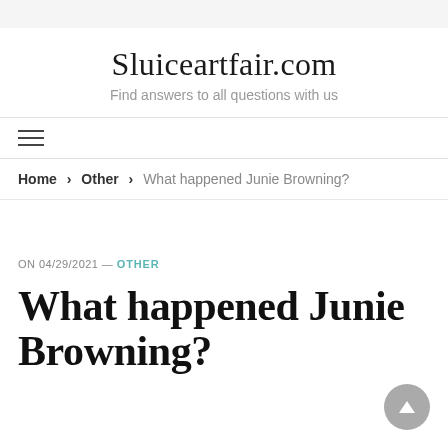Sluiceartfair.com
Find answers to all questions with us
Home › Other › What happened Junie Browning?
ON 04/29/2021 — OTHER
What happened Junie Browning?